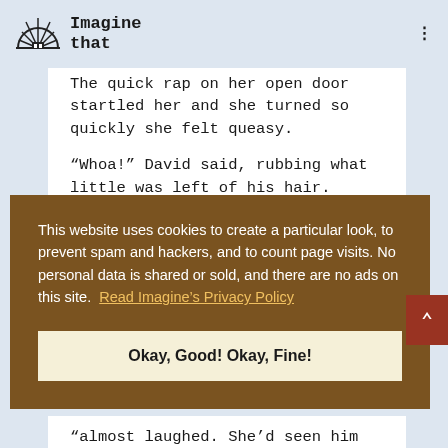Imagine that
The quick rap on her open door startled her and she turned so quickly she felt queasy.
“Whoa!” David said, rubbing what little was left of his hair.
This website uses cookies to create a particular look, to prevent spam and hackers, and to count page visits. No personal data is shared or sold, and there are no ads on this site. Read Imagine’s Privacy Policy
Okay, Good! Okay, Fine!
"almost laughed. She'd seen him